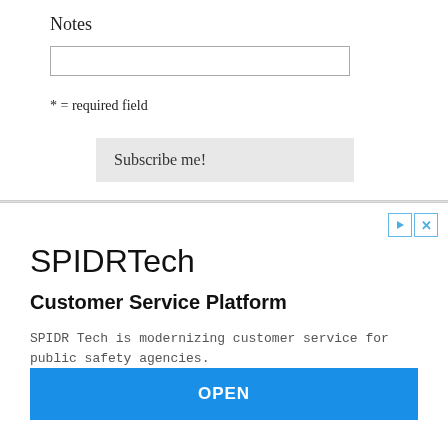Notes
* = required field
Subscribe me!
[Figure (screenshot): Advertisement for SPIDRTech Customer Service Platform with title, subtitle, description, URL, and OPEN button]
SPIDRTech
Customer Service Platform
SPIDR Tech is modernizing customer service for public safety agencies.
spidrtech.com